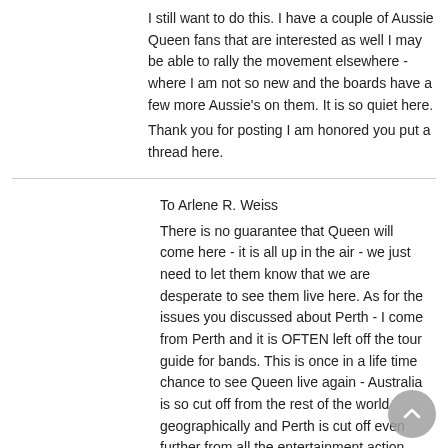I still want to do this. I have a couple of Aussie Queen fans that are interested as well I may be able to rally the movement elsewhere - where I am not so new and the boards have a few more Aussie's on them. It is so quiet here.
Thank you for posting I am honored you put a thread here.
To Arlene R. Weiss
There is no guarantee that Queen will come here - it is all up in the air - we just need to let them know that we are desperate to see them live here. As for the issues you discussed about Perth - I come from Perth and it is OFTEN left off the tour guide for bands. This is once in a life time chance to see Queen live again - Australia is so cut off from the rest of the world geographically and Perth is cut off even further from all the entertainment action more so. So when you see people bagging Perth out when it comes to missing out on bands touring - They have good reason to - Many bands just don't bother with it as
Isis
13.10.2005 23:08